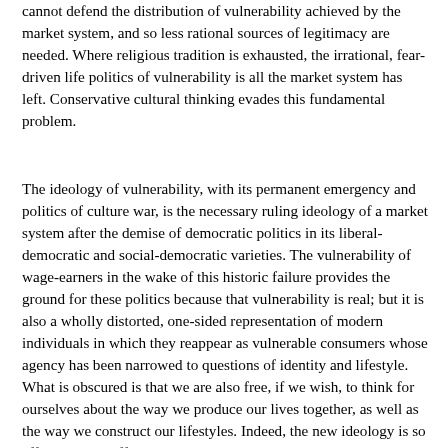cannot defend the distribution of vulnerability achieved by the market system, and so less rational sources of legitimacy are needed. Where religious tradition is exhausted, the irrational, fear-driven life politics of vulnerability is all the market system has left. Conservative cultural thinking evades this fundamental problem.
The ideology of vulnerability, with its permanent emergency and politics of culture war, is the necessary ruling ideology of a market system after the demise of democratic politics in its liberal-democratic and social-democratic varieties. The vulnerability of wage-earners in the wake of this historic failure provides the ground for these politics because that vulnerability is real; but it is also a wholly distorted, one-sided representation of modern individuals in which they reappear as vulnerable consumers whose agency has been narrowed to questions of identity and lifestyle. What is obscured is that we are also free, if we wish, to think for ourselves about the way we produce our lives together, as well as the way we construct our lifestyles. Indeed, the new ideology is so effective and suffocating politically because it constructs our freedom as